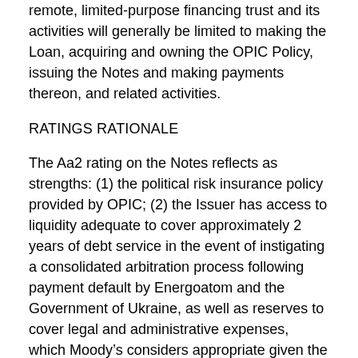remote, limited-purpose financing trust and its activities will generally be limited to making the Loan, acquiring and owning the OPIC Policy, issuing the Notes and making payments thereon, and related activities.
RATINGS RATIONALE
The Aa2 rating on the Notes reflects as strengths: (1) the political risk insurance policy provided by OPIC; (2) the Issuer has access to liquidity adequate to cover approximately 2 years of debt service in the event of instigating a consolidated arbitration process following payment default by Energoatom and the Government of Ukraine, as well as reserves to cover legal and administrative expenses, which Moody’s considers appropriate given the deal structure and insurance claims process; (3) the project is a stated policy priority for the